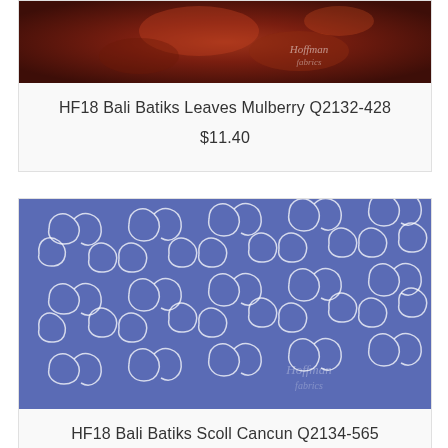[Figure (photo): Partial product image of HF18 Bali Batiks Leaves Mulberry fabric with dark red/brown tones and a Hoffman Fabrics watermark]
HF18 Bali Batiks Leaves Mulberry Q2132-428
$11.40
[Figure (photo): Product image of HF18 Bali Batiks Scoll Cancun Q2134-565 fabric showing a blue and white scrollwork/filigree batik pattern with Hoffman Fabrics watermark]
HF18 Bali Batiks Scoll Cancun Q2134-565